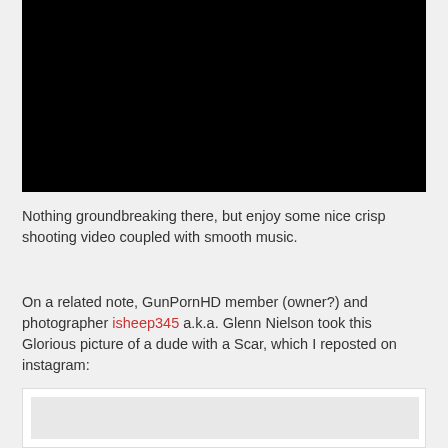[Figure (photo): Black video player embed area]
Nothing groundbreaking there, but enjoy some nice crisp shooting video coupled with smooth music.
On a related note, GunPornHD member (owner?) and photographer isheep345 a.k.a. Glenn Nielson took this Glorious picture of a dude with a Scar, which I reposted on instagram:
[Figure (screenshot): Instagram embedded post showing a photo, partially visible]